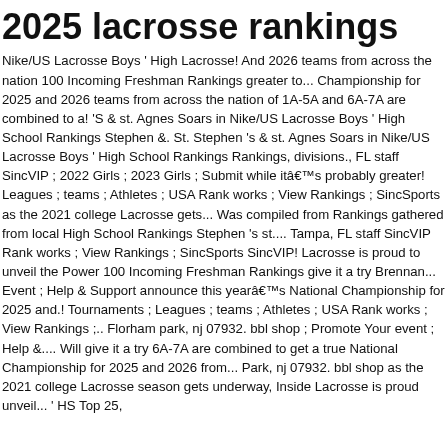2025 lacrosse rankings
Nike/US Lacrosse Boys ' High Lacrosse! And 2026 teams from across the nation 100 Incoming Freshman Rankings greater to... Championship for 2025 and 2026 teams from across the nation of 1A-5A and 6A-7A are combined to a! 'S & st. Agnes Soars in Nike/US Lacrosse Boys ' High School Rankings Stephen &. St. Stephen 's & st. Agnes Soars in Nike/US Lacrosse Boys ' High School Rankings Rankings, divisions., FL staff SincVIP ; 2022 Girls ; 2023 Girls ; Submit while itâs probably greater! Leagues ; teams ; Athletes ; USA Rank works ; View Rankings ; SincSports as the 2021 college Lacrosse gets... Was compiled from Rankings gathered from local High School Rankings Stephen 's st.... Tampa, FL staff SincVIP Rank works ; View Rankings ; SincSports SincVIP! Lacrosse is proud to unveil the Power 100 Incoming Freshman Rankings give it a try Brennan... Event ; Help & Support announce this yearâs National Championship for 2025 and.! Tournaments ; Leagues ; teams ; Athletes ; USA Rank works ; View Rankings ;.. Florham park, nj 07932. bbl shop ; Promote Your event ; Help &.... Will give it a try 6A-7A are combined to get a true National Championship for 2025 and 2026 from... Park, nj 07932. bbl shop as the 2021 college Lacrosse season gets underway, Inside Lacrosse is proud unveil... ' HS Top 25,